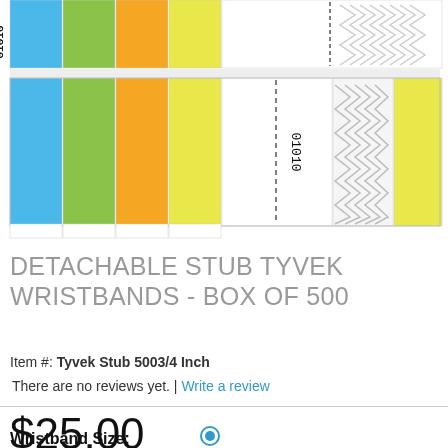[Figure (illustration): Product image showing detachable stub Tyvek wristbands in multiple colors (blue, green, orange, yellow) with serial number patterns and a zigzag tear-off section, including a yellow solid section on the right.]
DETACHABLE STUB TYVEK WRISTBANDS - BOX OF 500
Item #: Tyvek Stub 5003/4 Inch
There are no reviews yet. | Write a review
$25.00
Wristband Size: